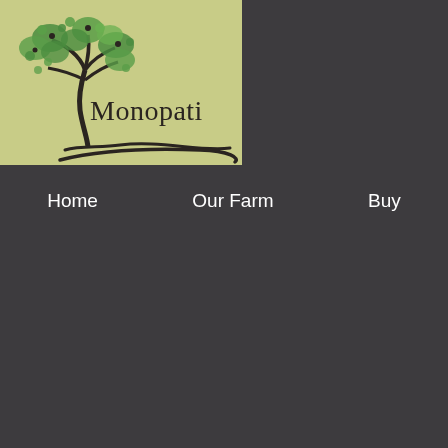[Figure (logo): Monopati brand logo: olive/tree illustration on sage green background with decorative curved swoosh line and the text 'Monopati']
Home
Our Farm
Buy